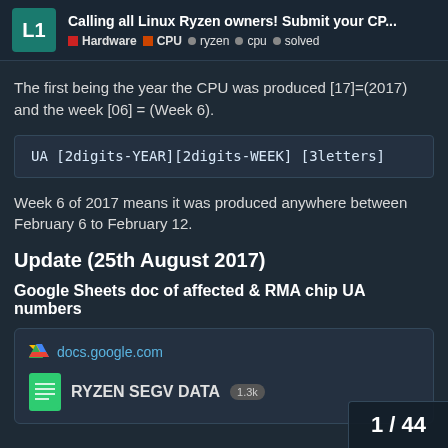Calling all Linux Ryzen owners! Submit your CP... | Hardware | CPU | ryzen | cpu | solved
The first being the year the CPU was produced [17]=(2017) and the week [06] = (Week 6).
UA [2digits-YEAR][2digits-WEEK] [3letters]
Week 6 of 2017 means it was produced anywhere between February 6 to February 12.
Update (25th August 2017)
Google Sheets doc of affected & RMA chip UA numbers
[Figure (screenshot): Link card showing docs.google.com with a Google Drive icon, and below a green spreadsheet icon with 'RYZEN SEGV DATA' and a 1.3k badge]
1 / 44